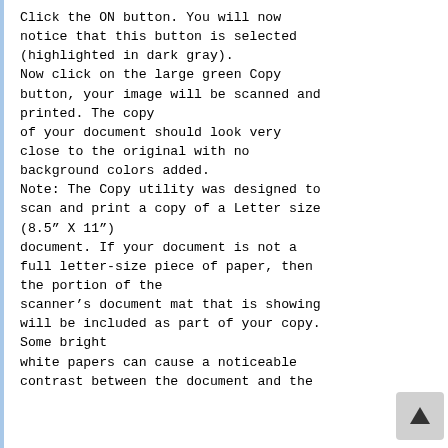Click the ON button. You will now notice that this button is selected (highlighted in dark gray).
Now click on the large green Copy button, your image will be scanned and printed. The copy of your document should look very close to the original with no background colors added.
Note: The Copy utility was designed to scan and print a copy of a Letter size (8.5” X 11”) document. If your document is not a full letter-size piece of paper, then the portion of the scanner’s document mat that is showing will be included as part of your copy. Some bright white papers can cause a noticeable contrast between the document and the